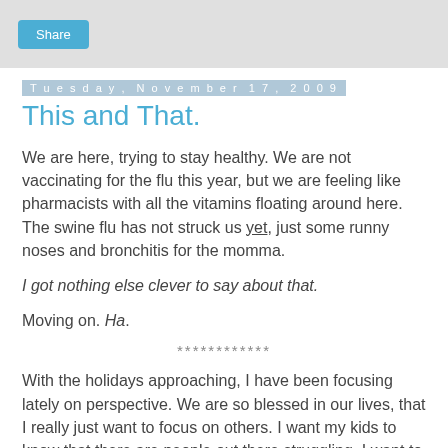Share
Tuesday, November 17, 2009
This and That.
We are here, trying to stay healthy. We are not vaccinating for the flu this year, but we are feeling like pharmacists with all the vitamins floating around here. The swine flu has not struck us yet, just some runny noses and bronchitis for the momma.
I got nothing else clever to say about that.
Moving on. Ha.
************
With the holidays approaching, I have been focusing lately on perspective. We are so blessed in our lives, that I really just want to focus on others. I want my kids to know that there are people out there struggling. I want to reach out and